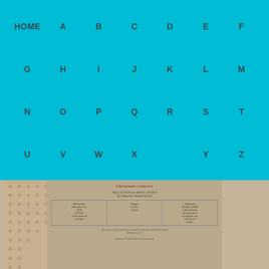HOME A B C D E F G H I J K L M N O P Q R S T U V W X Y Z
[Figure (photo): A Christmas Concert flyer/program showing event details including date Wednesday December 11 2014, venue Nugget Events Center, and admission information. The flyer has a tan/beige background with decorative dot pattern on the left side.]
Community Concert Program For The Of Girl Scouts Christmas .
[Figure (table-as-image): A Spirit-branded document showing a List of Events table with columns for Date, Time, and event description details. Partially visible rows include Saturday November 16, Tuesday November 19, and Wednesday/November entries.]